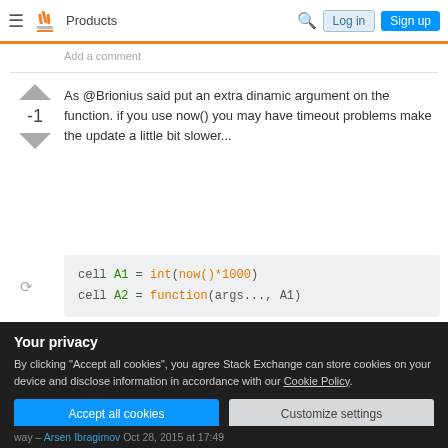≡  [logo]  Products  🔍  Log in  Sign up
Add a comment
As @Brionius said put an extra dinamic argument on the function. if you use now() you may have timeout problems make the update a little bit slower...
Share
Your privacy
By clicking "Accept all cookies", you agree Stack Exchange can store cookies on your device and disclose information in accordance with our Cookie Policy.
Accept all cookies  Customize settings
way – Arsen Ibragimov Oct 28, 2015 at 17:49